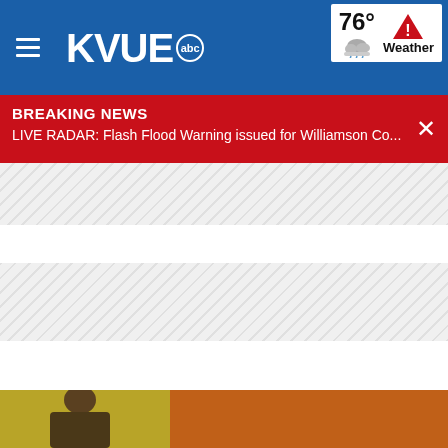KVUE abc — 76° Weather
BREAKING NEWS
LIVE RADAR: Flash Flood Warning issued for Williamson Co...
[Figure (screenshot): Striped placeholder content areas below the breaking news banner, followed by a partial image at the bottom showing two-toned background (olive/orange) with a partially visible figure]